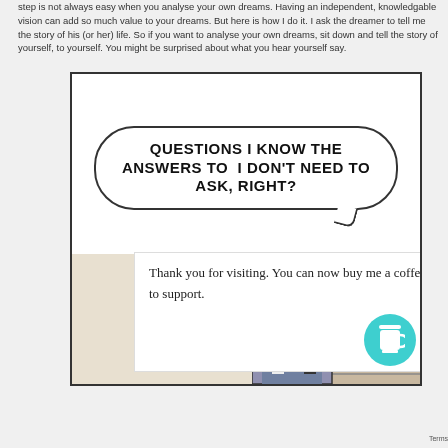step is not always easy when you analyse your own dreams. Having an independent, knowledgable vision can add so much value to your dreams. But here is how I do it. I ask the dreamer to tell me the story of his (or her) life. So if you want to analyse your own dreams, sit down and tell the story of yourself, to yourself. You might be surprised about what you hear yourself say.
[Figure (illustration): Comic strip panel showing a speech bubble with text 'QUESTIONS I KNOW THE ANSWERS TO I DON'T NEED TO ASK, RIGHT?' above a comic scene of a figure at a doorway. Overlaid with a white box reading 'Thank you for visiting. You can now buy me a coffee to support.' and a teal coffee cup button.]